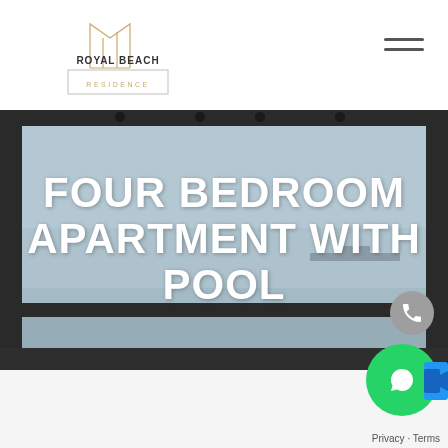[Figure (logo): Royal Beach Residence logo with geometric building lines in gold/grey above text, bordered box with 'ROYAL BEACH' in dark letters and 'RESIDENCE' in gold below]
[Figure (photo): Balcony railing with glass panels overlooking a body of water with a ship on the horizon, grey-blue tones]
FOUR BEDROOM APARTMENT WITH POOL
[Figure (other): Phone call button (grey circle with white phone icon)]
[Figure (other): WhatsApp green circle button with white WhatsApp logo, and a blue video camera icon beside it]
Privacy · Terms